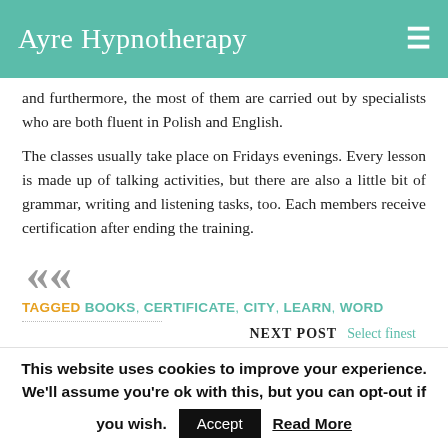Ayre Hypnotherapy
and furthermore, the most of them are carried out by specialists who are both fluent in Polish and English.
The classes usually take place on Fridays evenings. Every lesson is made up of talking activities, but there are also a little bit of grammar, writing and listening tasks, too. Each members receive certification after ending the training.
TAGGED BOOKS, CERTIFICATE, CITY, LEARN, WORD
NEXT POST Select finest
This website uses cookies to improve your experience. We'll assume you're ok with this, but you can opt-out if you wish. Accept Read More